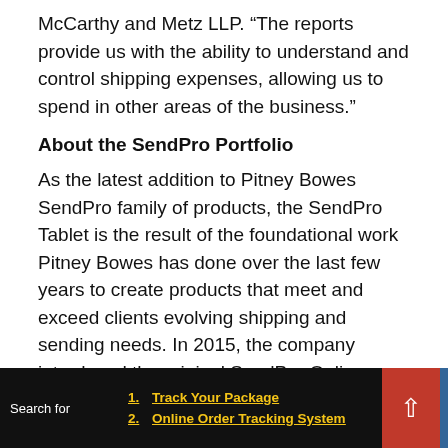McCarthy and Metz LLP. “The reports provide us with the ability to understand and control shipping expenses, allowing us to spend in other areas of the business.”
About the SendPro Portfolio
As the latest addition to Pitney Bowes SendPro family of products, the SendPro Tablet is the result of the foundational work Pitney Bowes has done over the last few years to create products that meet and exceed clients evolving shipping and sending needs. In 2015, the company introduced the original SendPro Online application, the first-of-its-kind, cloud based multi-carrier shipping solution for the
Search for  1. Track Your Package  2. Online Order Tracking System